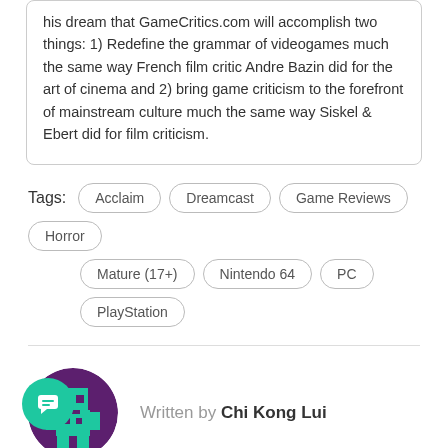his dream that GameCritics.com will accomplish two things: 1) Redefine the grammar of videogames much the same way French film critic Andre Bazin did for the art of cinema and 2) bring game criticism to the forefront of mainstream culture much the same way Siskel & Ebert did for film criticism.
Tags: Acclaim  Dreamcast  Game Reviews  Horror  Mature (17+)  Nintendo 64  PC  PlayStation
Written by Chi Kong Lui
[Figure (illustration): Pixel art avatar of Chi Kong Lui — purple circle background with teal/green pixel robot character in center]